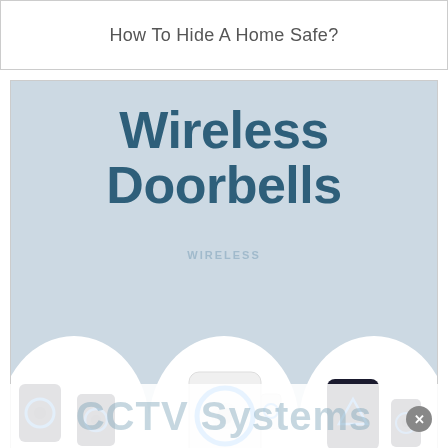How To Hide A Home Safe?
[Figure (infographic): Wireless Doorbells infographic banner showing three doorbell product images in white circles on a light blue background, with text 'HOME SECURITY PRODUCTS, TIPS & TRICKS' and 'Best Wireless Doorbells']
Best Wireless Doorbells
[Figure (infographic): Wireless text on light blue background (partially visible card), and CCTV Systems watermark text at bottom overlay]
CCTV Systems